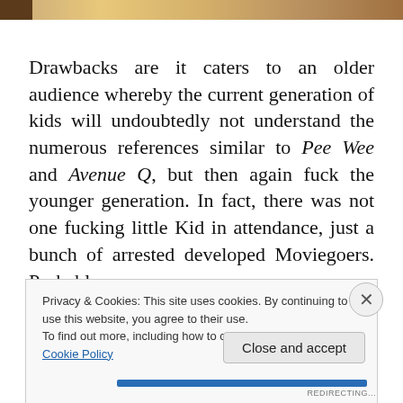[Figure (photo): Partial photo strip visible at top of page showing warm-toned image]
Drawbacks are it caters to an older audience whereby the current generation of kids will undoubtedly not understand the numerous references similar to Pee Wee and Avenue Q, but then again fuck the younger generation. In fact, there was not one fucking little Kid in attendance, just a bunch of arrested developed Moviegoers. Probably
Privacy & Cookies: This site uses cookies. By continuing to use this website, you agree to their use.
To find out more, including how to control cookies, see here: Cookie Policy
Close and accept